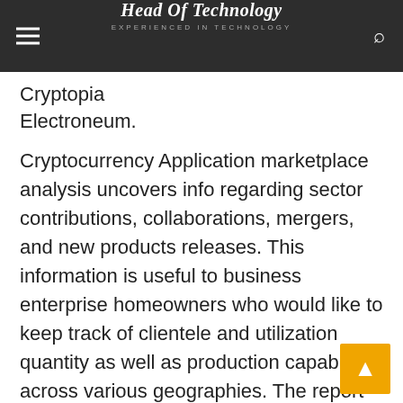Head Of Technology
EXPERIENCED IN TECHNOLOGY
Cryptopia
Electroneum.
Cryptocurrency Application marketplace analysis uncovers info regarding sector contributions, collaborations, mergers, and new products releases. This information is useful to business enterprise homeowners who would like to keep track of clientele and utilization quantity as well as production capability across various geographies. The report also delivers tables, charts, and infographics that provide vital information on distribution channels and offer chain management across a number of geographies. A summary of market's major shortcomings and benefits can be uncovered at the end of the research, as can an